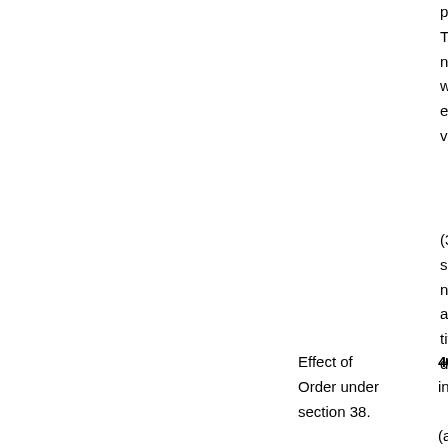publish Tamil newspa which exhibit vicinity
(3) Wh section never t and ar title o determ
Effect of Order under section 38. 40. When an Ord in the Gazette, th (a) wh posses